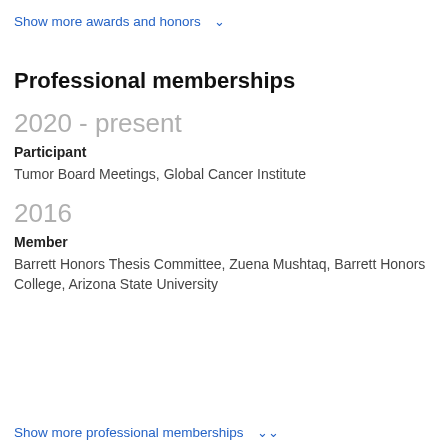Show more awards and honors ∨
Professional memberships
2020 - present
Participant
Tumor Board Meetings, Global Cancer Institute
2016
Member
Barrett Honors Thesis Committee, Zuena Mushtaq, Barrett Honors College, Arizona State University
Show more professional memberships ∨∨